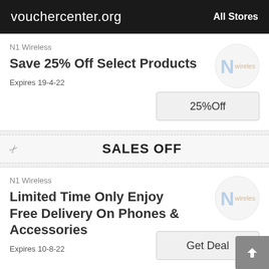vouchercenter.org   All Stores
N1 Wireless
Save 25% Off Select Products
Expires 19-4-22
25%Off
SALES OFF
N1 Wireless
Limited Time Only Enjoy Free Delivery On Phones & Accessories
Expires 10-8-22
Get Deal